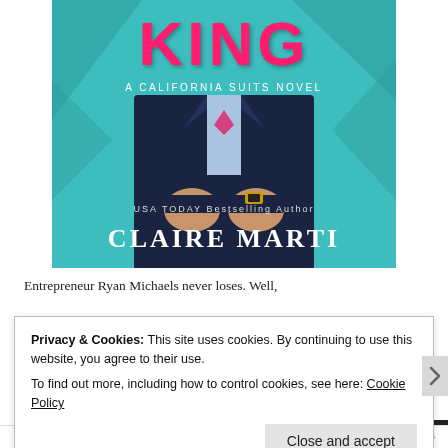[Figure (illustration): Book cover for 'King: A California Suits Novel' by USA TODAY Bestselling Author Claire Marti. Shows a man in a dark navy suit adjusting his cufflinks, with a teal/turquoise background. Title 'KING' appears in large pink/hot pink letters at top. Author name 'CLAIRE MARTI' at bottom in white serif font.]
Entrepreneur Ryan Michaels never loses. Well,
Privacy & Cookies: This site uses cookies. By continuing to use this website, you agree to their use.
To find out more, including how to control cookies, see here: Cookie Policy
Close and accept